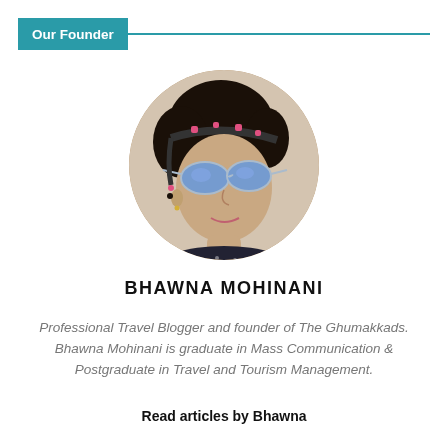Our Founder
[Figure (photo): Circular profile photo of Bhawna Mohinani, a young woman wearing blue aviator sunglasses and a floral headband, photographed outdoors.]
BHAWNA MOHINANI
Professional Travel Blogger and founder of The Ghumakkads. Bhawna Mohinani is graduate in Mass Communication & Postgraduate in Travel and Tourism Management.
Read articles by Bhawna